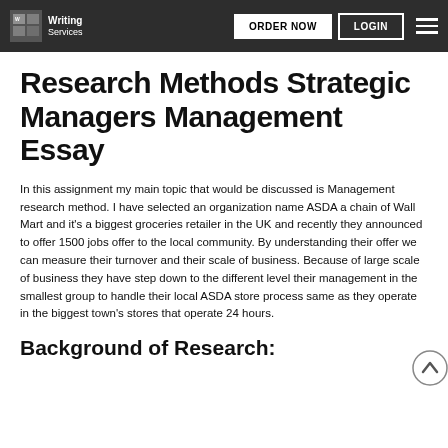Writing Services | ORDER NOW | LOGIN
Research Methods Strategic Managers Management Essay
In this assignment my main topic that would be discussed is Management research method. I have selected an organization name ASDA a chain of Wall Mart and it's a biggest groceries retailer in the UK and recently they announced to offer 1500 jobs offer to the local community. By understanding their offer we can measure their turnover and their scale of business. Because of large scale of business they have step down to the different level their management in the smallest group to handle their local ASDA store process same as they operate in the biggest town's stores that operate 24 hours.
Background of Research: